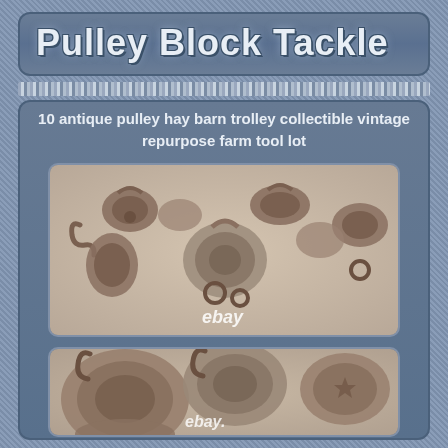Pulley Block Tackle
10 antique pulley hay barn trolley collectible vintage repurpose farm tool lot
[Figure (photo): Collection of 10 antique cast iron pulley block tackle pieces arranged on a light surface, showing various sizes of farm pulleys, viewed from above. eBay watermark visible.]
[Figure (photo): Close-up view of antique cast iron pulley block tackle pieces showing details of hooks and wheels. eBay watermark visible.]
[Figure (photo): Partial view of additional antique pulley block tackle pieces at the bottom of the image.]